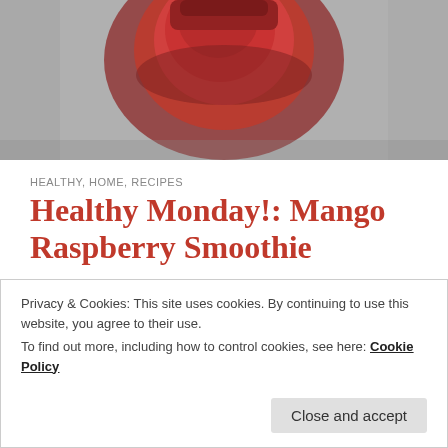[Figure (photo): A red smoothie in a blender or cup photographed from above/side, showing a deep red-pink smoothie against a grey background.]
HEALTHY, HOME, RECIPES
Healthy Monday!: Mango Raspberry Smoothie
Hi everyone! Hope your week is going well so far! It's still summer weather here in London and when it's sunny outside I find it perfect to start the day with some energy and vitamins from a fruit smoothie. Smoothies
Privacy & Cookies: This site uses cookies. By continuing to use this website, you agree to their use.
To find out more, including how to control cookies, see here: Cookie Policy
Close and accept